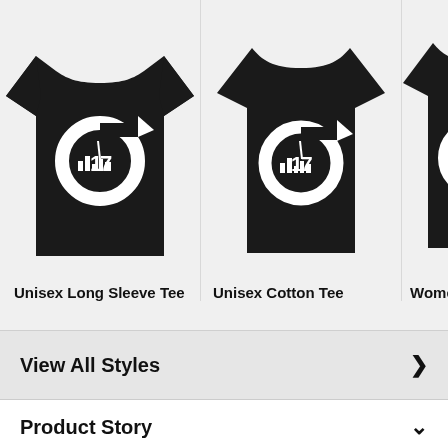[Figure (photo): Three black t-shirt product images: Unisex Long Sleeve Tee, Unisex Cotton Tee, Women's Co (cropped). Each shirt has a white logo with a circular arrow design and the number 17.]
Unisex Long Sleeve Tee
Unisex Cotton Tee
Women's Co
View All Styles
Product Story
a logo that features a sprawling city with an iron spike punching a hole in the sky. Wear this geeky shirt in appreciation for that classic sci-fi video game about our favorite nerd with a crowbar, Half Life 2. The G-man would like to speak with you. If you are familiar with the one Free Man, wear this design, wake up, and smell the ashes